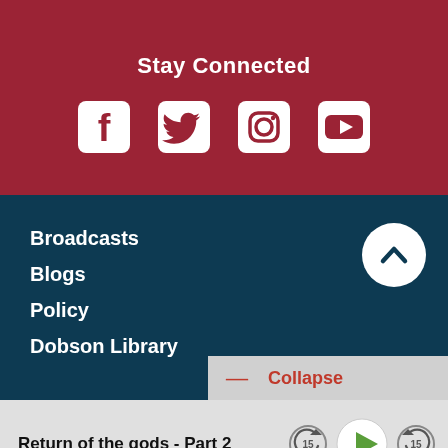Stay Connected
[Figure (infographic): Social media icons: Facebook, Twitter, Instagram, YouTube — white icons on dark red background]
Broadcasts
Blogs
Policy
Dobson Library
Collapse
Return of the gods - Part 2
0:00 / 25:56